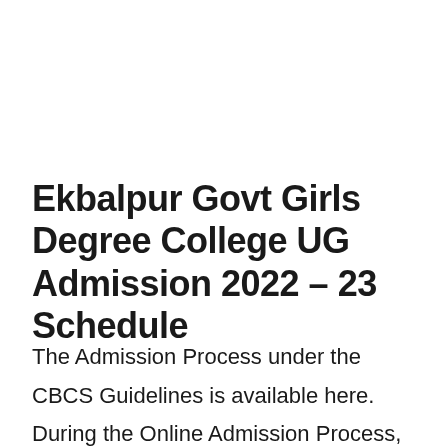Ekbalpur Govt Girls Degree College UG Admission 2022 – 23 Schedule
The Admission Process under the CBCS Guidelines is available here. During the Online Admission Process, candidates can make a note of the important dates available below as per